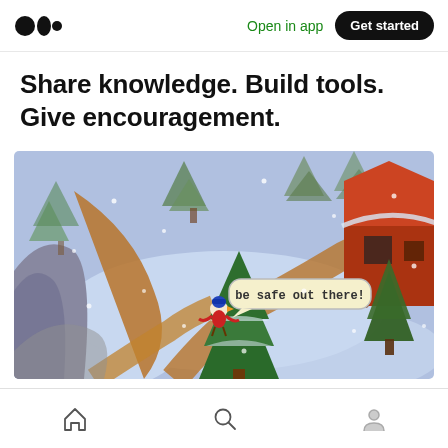Medium logo | Open in app | Get started
Share knowledge. Build tools. Give encouragement.
[Figure (screenshot): A low-poly 3D video game screenshot showing a snowy winter scene with pine trees, a wooden cabin, dirt paths, and a bird-like character with a speech bubble saying 'be safe out there!']
Home | Search | Profile navigation icons